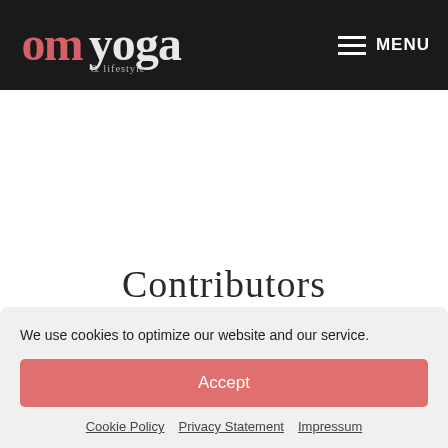omyoga & lifestyle | MENU
Contributors
We use cookies to optimize our website and our service.
Accept
Cookie Policy  Privacy Statement  Impressum